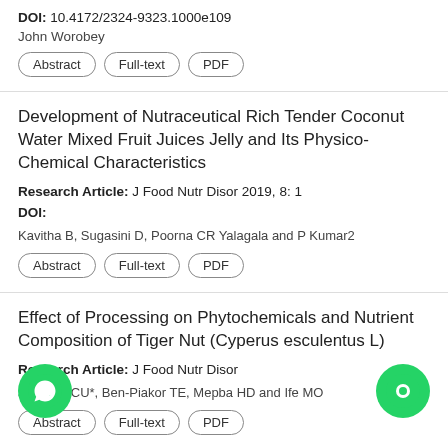DOI: 10.4172/2324-9323.1000e109
John Worobey
Abstract | Full-text | PDF
Development of Nutraceutical Rich Tender Coconut Water Mixed Fruit Juices Jelly and Its Physico-Chemical Characteristics
Research Article: J Food Nutr Disor 2019, 8: 1
DOI:
Kavitha B, Sugasini D, Poorna CR Yalagala and P Kumar2
Abstract | Full-text | PDF
Effect of Processing on Phytochemicals and Nutrient Composition of Tiger Nut (Cyperus esculentus L)
Research Article: J Food Nutr Disor
a-Nnoka CU*, Ben-Piakor TE, Mepba HD and Ife MO
Abstract | Full-text | PDF